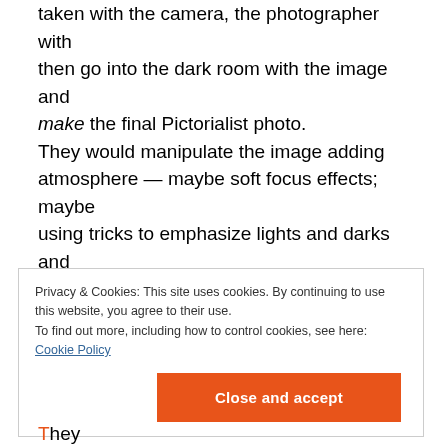taken with the camera, the photographer with then go into the dark room with the image and make the final Pictorialist photo. They would manipulate the image adding atmosphere — maybe soft focus effects; maybe using tricks to emphasize lights and darks and contours and shading — creating the final photograph that evoked a mood and stirred in the viewer the same kinds of reactions that the viewer might have to a painting.
Privacy & Cookies: This site uses cookies. By continuing to use this website, you agree to their use.
To find out more, including how to control cookies, see here: Cookie Policy
They
Close and accept